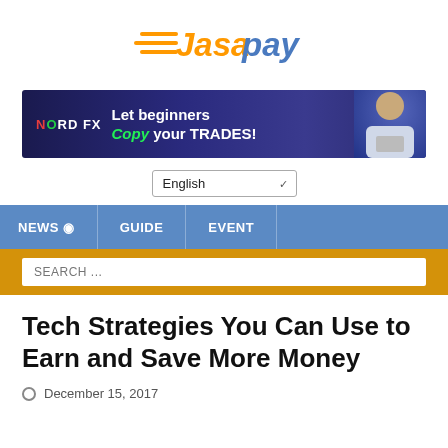[Figure (logo): FasaPay logo with orange checkmark/arrow motif and blue 'pay' text]
[Figure (photo): NordFX advertisement banner: dark blue background with trading data visuals, text 'NORD FX Let beginners Copy your TRADES!' and a man with a laptop]
English ✓
NEWS  GUIDE  EVENT
SEARCH ...
Tech Strategies You Can Use to Earn and Save More Money
December 15, 2017